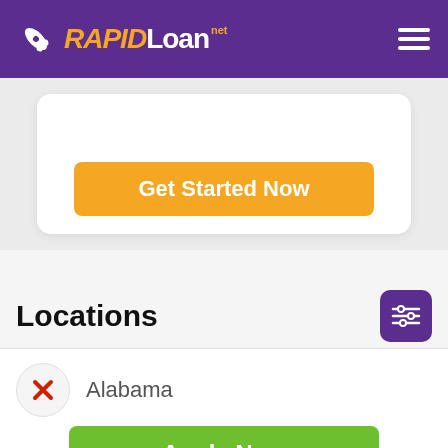RAPIDLoan.net
[Figure (screenshot): Orange 'Get Started Now' button inside a white rounded card on a light gray background]
Locations
Alabama
[Figure (other): Green 'Apply Now' button]
Applying does NOT affect your credit score! No credit check to apply.